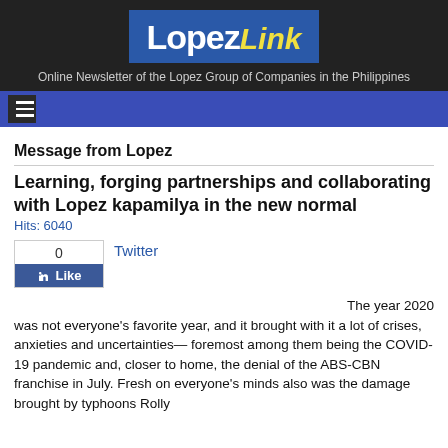[Figure (logo): Lopez Link logo — white 'Lopez' and yellow italic 'Link' text on a blue rectangle, set against a dark/black header background with tagline 'Online Newsletter of the Lopez Group of Companies in the Philippines']
Online Newsletter of the Lopez Group of Companies in the Philippines
Message from Lopez
Learning, forging partnerships and collaborating with Lopez kapamilya in the new normal
Hits: 6040
[Figure (screenshot): Facebook Like widget showing count of 0 and a blue Like button with thumbs-up icon, alongside a Twitter link]
The year 2020 was not everyone's favorite year, and it brought with it a lot of crises, anxieties and uncertainties— foremost among them being the COVID-19 pandemic and, closer to home, the denial of the ABS-CBN franchise in July. Fresh on everyone's minds also was the damage brought by typhoons Rolly